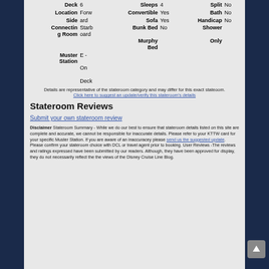| Deck | 6 | Sleeps | 4 | Split | No |
| Location | Forw | Convertible | Yes | Bath | No |
| Side | ard | Sofa | Yes | Handicap | No |
| Connecting Room | Starboard | Bunk Bed Murphy Bed | No | Shower Only |  |
| Muster Station | E - On Deck |  |  |  |  |
Details are representative of the stateroom category and may differ for this exact stateoom.
Click here to suggest an update/verify this stateroom's details
Stateroom Reviews
Submit your own stateroom review
Disclaimer Stateroom Summary - While we do our best to ensure that stateroom details listed on this site are complete and accurate, we cannot be responsible for inaccurate details. Please refer to your KTTW card for your specific Muster Station. If you are aware of an inaccuracey please send us the suggested update. Please confirm your stateroom choice with DCL or travel agent prior to booking. User Reviews -The reviews and ratings expressed have been submitted by our readers. Although, they have been approved for display, they do not necessarily reflect the the views of the Disney Cruise Line Blog.